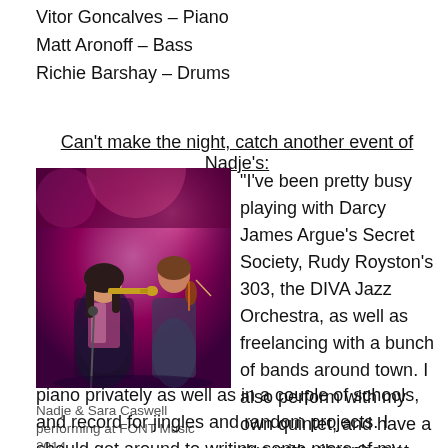Vitor Goncalves – Piano
Matt Aronoff – Bass
Richie Barshay – Drums
Can't make the night, catch another event of Nadje's:
[Figure (photo): Nadje and Sara Caswell performing on stage at FONT Music 2014, purple stage lighting, one playing trumpet and one playing violin.]
Nadje & Sara Caswell performing at FONT Music 2014.
“I’ve been pretty busy playing with Darcy James Argue’s Secret Society, Rudy Royston’s 303, the DIVA Jazz Orchestra, as well as freelancing with a bunch of bands around town. I also perform with my own quintet, and have a duo with vibraphonist James Shipp. I teach trumpet and piano privately as well as in a couple of schools, and record for jingles and random projects. I should get around to writing some more of my own music at some